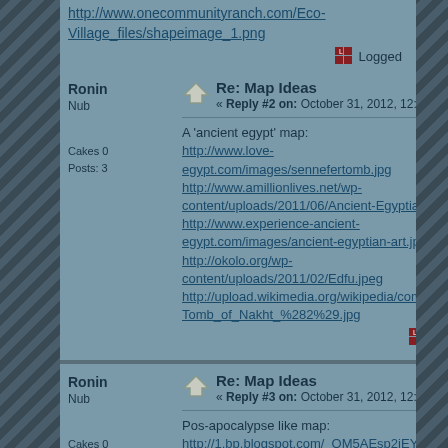http://www.onecommunityranch.com/Eco-Village_files/shapeimage_1.png
Logged
Ronin
Nub
Cakes 0
Posts: 3
Re: Map Ideas
« Reply #2 on: October 31, 2012, 12:38:25 PM »
A 'ancient egypt' map:
http://www.love-egypt.com/images/sennefertomb.jpg
http://www.amillionlives.net/wp-content/uploads/2011/06/Ancient-Egyptian-Art.jpg
http://www.experience-ancient-egypt.com/images/ancient-egyptian-art.jpg
http://okolo.org/wp-content/uploads/2011/02/Edfu.jpeg
http://upload.wikimedia.org/wikipedia/commons/thunTomb_of_Nakht_%282%29.jpg
Logged
Ronin
Nub
Cakes 0
Posts: 3
Re: Map Ideas
« Reply #3 on: October 31, 2012, 12:44:49 PM »
Pos-apocalypse like map:
http://1.bp.blogspot.com/_OM5AEsp2iEY/S_6wGDw...